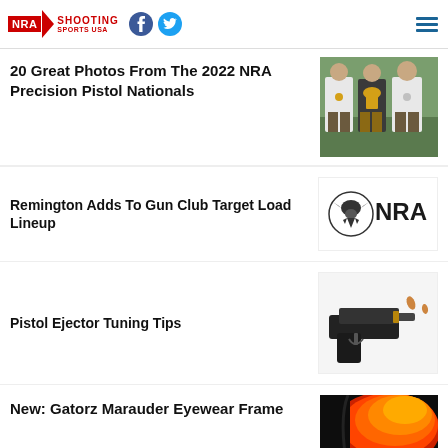NRA Shooting Sports USA
20 Great Photos From The 2022 NRA Precision Pistol Nationals
[Figure (photo): Three men standing outdoors holding a trophy, wearing medals and shooting competition attire]
Remington Adds To Gun Club Target Load Lineup
[Figure (logo): NRA eagle logo with NRA text in bold]
Pistol Ejector Tuning Tips
[Figure (photo): Black semi-automatic pistol with brass cartridge casings ejecting, on white background]
New: Gatorz Marauder Eyewear Frame
[Figure (photo): Partial view of colorful orange and red eyewear lens/frame against dark background]